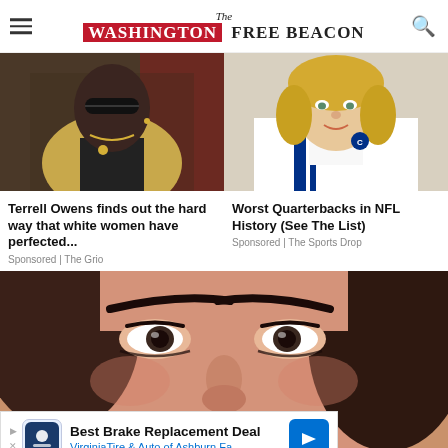The Washington Free Beacon
[Figure (photo): Man in sunglasses and tan blazer, Terrell Owens]
[Figure (photo): Blond football player in white NFL jersey (Colts uniform)]
Terrell Owens finds out the hard way that white women have perfected...
Sponsored | The Grio
Worst Quarterbacks in NFL History (See The List)
Sponsored | The Sports Drop
[Figure (photo): Close-up of a woman's face smiling, brown hair]
Best Brake Replacement Deal VirginiaTire & Auto of Ashburn Fa..